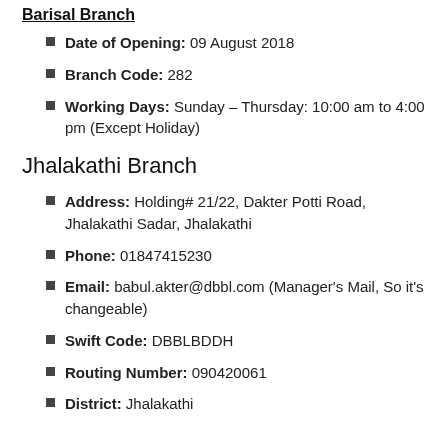Date of Opening: 09 August 2018
Branch Code: 282
Working Days: Sunday – Thursday: 10:00 am to 4:00 pm (Except Holiday)
Jhalakathi Branch
Address: Holding# 21/22, Dakter Potti Road, Jhalakathi Sadar, Jhalakathi
Phone: 01847415230
Email: babul.akter@dbbl.com (Manager's Mail, So it's changeable)
Swift Code: DBBLBDDH
Routing Number: 090420061
District: Jhalakathi